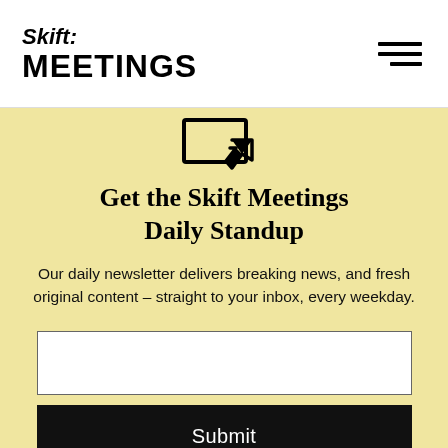Skift MEETINGS
[Figure (illustration): Icon of a computer monitor with a cursor/arrow pointer]
Get the Skift Meetings Daily Standup
Our daily newsletter delivers breaking news, and fresh original content – straight to your inbox, every weekday.
[Figure (other): Email input text field (empty)]
Submit